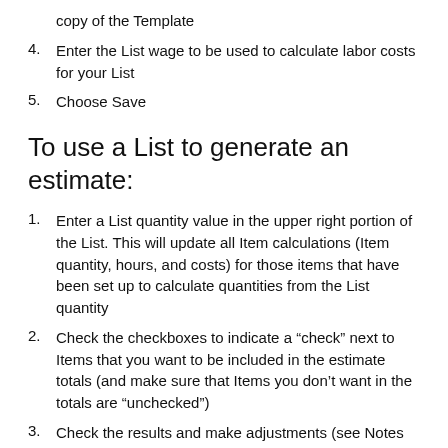copy of the Template
4. Enter the List wage to be used to calculate labor costs for your List
5. Choose Save
To use a List to generate an estimate:
1. Enter a List quantity value in the upper right portion of the List. This will update all Item calculations (Item quantity, hours, and costs) for those items that have been set up to calculate quantities from the List quantity
2. Check the checkboxes to indicate a “check” next to Items that you want to be included in the estimate totals (and make sure that Items you don’t want in the totals are “unchecked”)
3. Check the results and make adjustments (see Notes